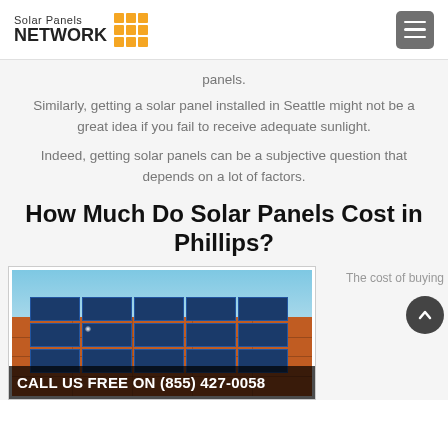Solar Panels NETWORK
panels.
Similarly, getting a solar panel installed in Seattle might not be a great idea if you fail to receive adequate sunlight.
Indeed, getting solar panels can be a subjective question that depends on a lot of factors.
How Much Do Solar Panels Cost in Phillips?
[Figure (photo): Solar panels installed on an orange tiled rooftop against a blue sky]
The cost of buying
CALL US FREE ON (855) 427-0058